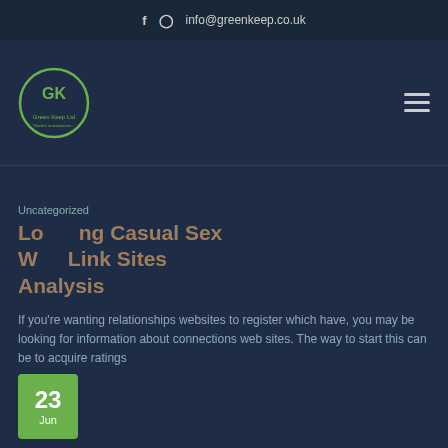f  Ⓒ  info@greenkeep.co.uk
[Figure (logo): Green Keep Ltd circular logo with GK initials in green on dark navy background]
Locating Casual Sex Website Link Sites Analysis
Uncategorized
If you’re wanting relationships websites to register which have, you may be looking for information about connections web sites. The way to start this can be to acquire ratings